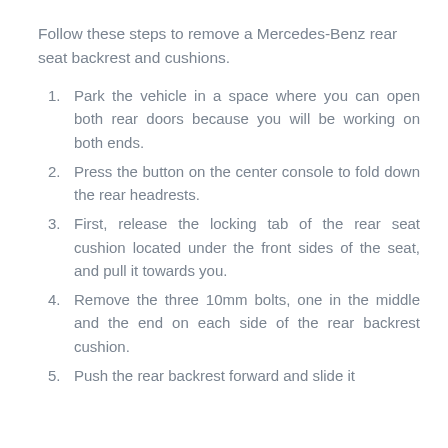Follow these steps to remove a Mercedes-Benz rear seat backrest and cushions.
1. Park the vehicle in a space where you can open both rear doors because you will be working on both ends.
2. Press the button on the center console to fold down the rear headrests.
3. First, release the locking tab of the rear seat cushion located under the front sides of the seat, and pull it towards you.
4. Remove the three 10mm bolts, one in the middle and the end on each side of the rear backrest cushion.
5. Push the rear backrest forward and slide it